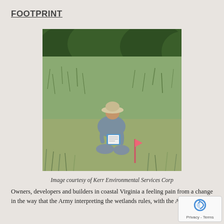FOOTPRINT
[Figure (photo): A person wearing a wide-brimmed hat and blue shirt kneeling in a field of tall grass, examining or marking something near a small pink flag stake. Dense green trees visible in the background.]
Image courtesy of Kerr Environmental Services Corp
Owners, developers and builders in coastal Virginia a feeling pain from a change in the way that the Army interpreting the wetlands rules, with the Army Corps in